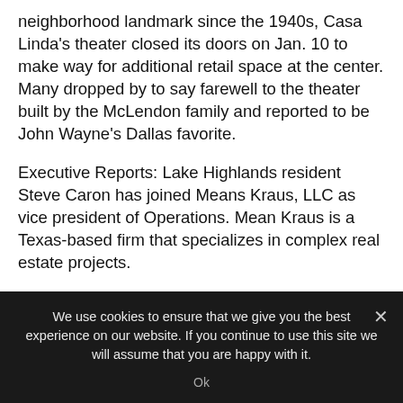neighborhood landmark since the 1940s, Casa Linda's theater closed its doors on Jan. 10 to make way for additional retail space at the center. Many dropped by to say farewell to the theater built by the McLendon family and reported to be John Wayne's Dallas favorite.
Executive Reports: Lake Highlands resident Steve Caron has joined Means Kraus, LLC as vice president of Operations. Mean Kraus is a Texas-based firm that specializes in complex real estate projects.
We use cookies to ensure that we give you the best experience on our website. If you continue to use this site we will assume that you are happy with it.